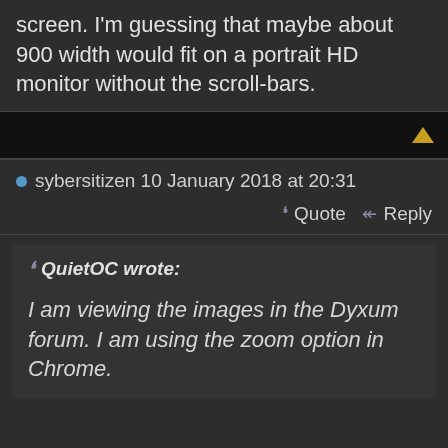screen. I'm guessing that maybe about 900 width would fit on a portrait HD monitor without the scroll-bars.
sybersitizen 10 January 2018 at 20:31
Quote  Reply
QuietOC wrote:
I am viewing the images in the Dyxum forum. I am using the zoom option in Chrome.